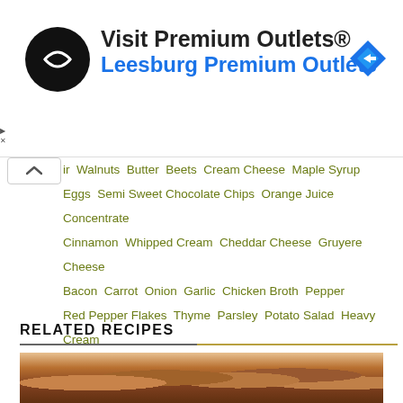[Figure (other): Advertisement banner for Visit Premium Outlets® – Leesburg Premium Outlets, with a circular black logo with white arrow icon and a blue diamond navigation arrow icon on the right.]
Walnuts  Butter  Beets  Cream Cheese  Maple Syrup  Eggs  Semi Sweet Chocolate Chips  Orange Juice Concentrate  Cinnamon  Whipped Cream  Cheddar Cheese  Gruyere Cheese  Bacon  Carrot  Onion  Garlic  Chicken Broth  Pepper  Red Pepper Flakes  Thyme  Parsley  Potato Salad  Heavy Cream
RELATED RECIPES
[Figure (photo): Close-up photo of glazed meatballs topped with sesame seeds and sliced green onions, served in a white bowl.]